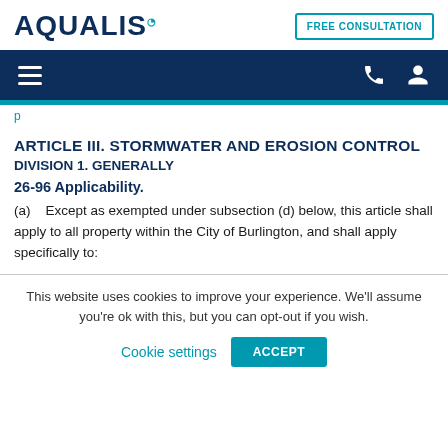AQUALIS | FREE CONSULTATION
ARTICLE III. STORMWATER AND EROSION CONTROL
DIVISION 1. GENERALLY
26-96 Applicability.
(a)    Except as exempted under subsection (d) below, this article shall apply to all property within the City of Burlington, and shall apply specifically to:
This website uses cookies to improve your experience. We'll assume you're ok with this, but you can opt-out if you wish.